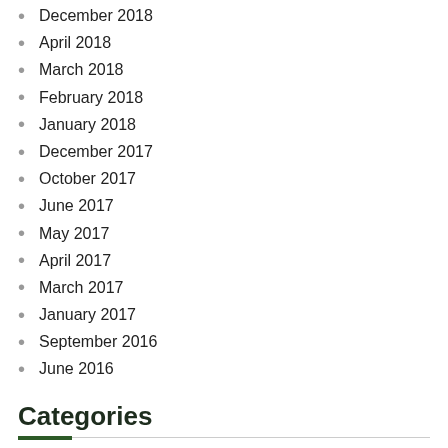December 2018
April 2018
March 2018
February 2018
January 2018
December 2017
October 2017
June 2017
May 2017
April 2017
March 2017
January 2017
September 2016
June 2016
Categories
Construction
Fenetres
General Information
Kitchens